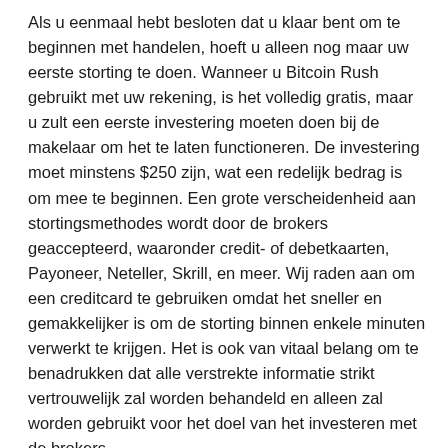Als u eenmaal hebt besloten dat u klaar bent om te beginnen met handelen, hoeft u alleen nog maar uw eerste storting te doen. Wanneer u Bitcoin Rush gebruikt met uw rekening, is het volledig gratis, maar u zult een eerste investering moeten doen bij de makelaar om het te laten functioneren. De investering moet minstens $250 zijn, wat een redelijk bedrag is om mee te beginnen. Een grote verscheidenheid aan stortingsmethodes wordt door de brokers geaccepteerd, waaronder credit- of debetkaarten, Payoneer, Neteller, Skrill, en meer. Wij raden aan om een creditcard te gebruiken omdat het sneller en gemakkelijker is om de storting binnen enkele minuten verwerkt te krijgen. Het is ook van vitaal belang om te benadrukken dat alle verstrekte informatie strikt vertrouwelijk zal worden behandeld en alleen zal worden gebruikt voor het doel van het investeren met de brokers.